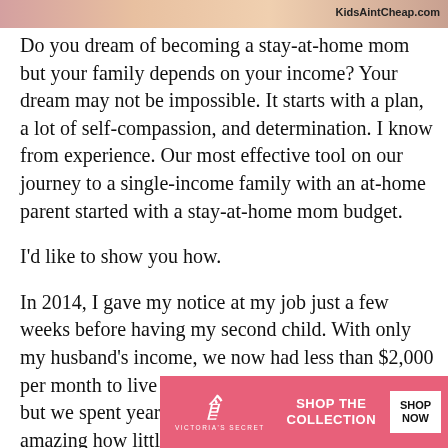[Figure (photo): Partial photo strip at top of page showing people, cropped. Watermark 'KidsAintCheap.com' in top right.]
Do you dream of becoming a stay-at-home mom but your family depends on your income? Your dream may not be impossible. It starts with a plan, a lot of self-compassion, and determination. I know from experience. Our most effective tool on our journey to a single-income family with an at-home parent started with a stay-at-home mom budget.
I'd like to show you how.
In 2014, I gave my notice at my job just a few weeks before having my second child. With only my husband's income, we now had less than $2,000 per month to live on. That may sound impossible, but we spent years preparing for that day. It's amazing how little income you can live on [CLOSE] ou don't ha[...] mazing how fre[...]ng
[Figure (screenshot): Advertisement overlay: Victoria's Secret ad banner reading 'SHOP THE COLLECTION' with 'SHOP NOW' button in white, on a pink background. There is also a 'CLOSE' button overlay and a partial photo of a woman.]